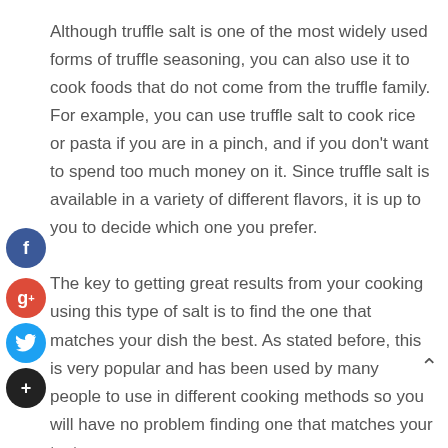Although truffle salt is one of the most widely used forms of truffle seasoning, you can also use it to cook foods that do not come from the truffle family. For example, you can use truffle salt to cook rice or pasta if you are in a pinch, and if you don't want to spend too much money on it. Since truffle salt is available in a variety of different flavors, it is up to you to decide which one you prefer.

The key to getting great results from your cooking using this type of salt is to find the one that matches your dish the best. As stated before, this is very popular and has been used by many people to use in different cooking methods so you will have no problem finding one that matches your taste.